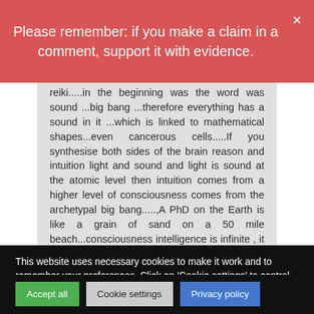Please remember: if you make a claim in a comment, support it with evidence.
reiki.....in the beginning was the word was sound ...big bang ...therefore everything has a sound in it ...which is linked to mathematical shapes...even cancerous cells.....If you synthesise both sides of the brain reason and intuition light and sound and light is sound at the atomic level then intuition comes from a higher level of consciousness comes from the archetypal big bang.....,A PhD on the Earth is like a grain of sand on a 50 mile beach...consciousness intelligence is infinite , it is pride which stops people seeing the truth, THEREFORE THE SYNTHESIS OF SOUND INTUITION LINKED TO EARTHLY REASON gives us a synthesis of intellect which in the bigger picture is very small indeed.
This website uses necessary cookies to make it work and to remember your preferences. Click on 'Cookie settings' to control your consent for other cookies or click on 'Accept all' to consent to the use of all cookies. By continuing to browse this website you are agreeing to our Privacy policy.